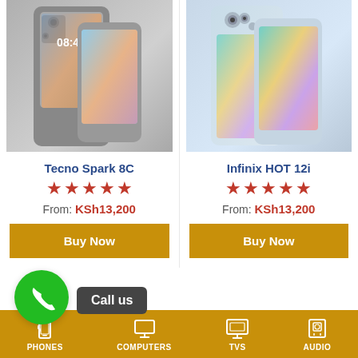[Figure (photo): Tecno Spark 8C smartphone product image showing back and front view, dark gray color]
[Figure (photo): Infinix HOT 12i smartphone product image showing back and front view, light blue/silver color]
Tecno Spark 8C
★★★★★
From: KSh13,200
Buy Now
Infinix HOT 12i
★★★★★
From: KSh13,200
Buy Now
Call us
PHONES   COMPUTERS   TVS   AUDIO